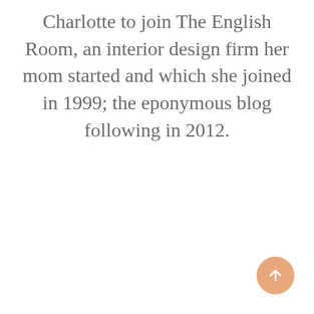Charlotte to join The English Room, an interior design firm her mom started and which she joined in 1999; the eponymous blog following in 2012.
[Figure (other): A circular orange/peach scroll-to-top button with an upward-pointing arrow, positioned in the bottom-right corner of the page.]